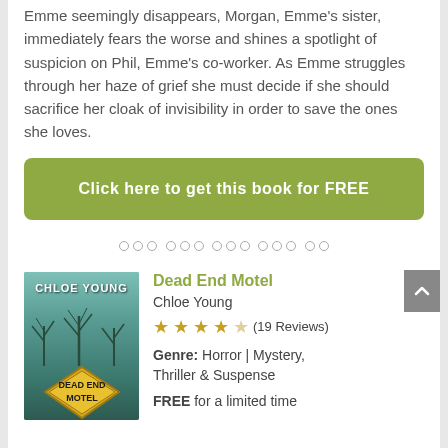Emme seemingly disappears, Morgan, Emme's sister, immediately fears the worse and shines a spotlight of suspicion on Phil, Emme's co-worker. As Emme struggles through her haze of grief she must decide if she should sacrifice her cloak of invisibility in order to save the ones she loves.
Click here to get this book for FREE
[Figure (other): Carousel navigation dots — 14 small hollow circles in a row]
[Figure (illustration): Book cover for Dead End Motel by Chloe Young: teal/green background with bare trees and a yellow diamond-shaped road sign reading DEAD END MOTEL]
Dead End Motel
Chloe Young
★★★★☆ (19 Reviews)
Genre: Horror | Mystery, Thriller & Suspense
FREE for a limited time